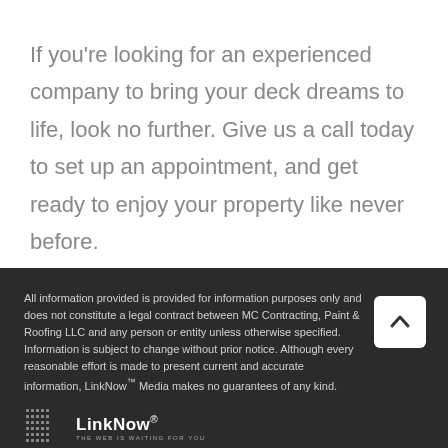If you're looking for an experienced company to bring your deck dreams to life, look no further. Give us a call today to set up an appointment, and get ready to enjoy your property like never before.
All information provided is provided for information purposes only and does not constitute a legal contract between MC Contracting, Paint & Roofing LLC and any person or entity unless otherwise specified. Information is subject to change without prior notice. Although every reasonable effort is made to present current and accurate information, LinkNow™ Media makes no guarantees of any kind.